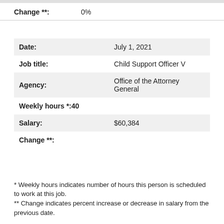Change **: 0%
| Date: | July 1, 2021 |
| Job title: | Child Support Officer V |
| Agency: | Office of the Attorney General |
| Weekly hours *:40 |  |
| Salary: | $60,384 |
| Change **: |  |
* Weekly hours indicates number of hours this person is scheduled to work at this job.
** Change indicates percent increase or decrease in salary from the previous date.